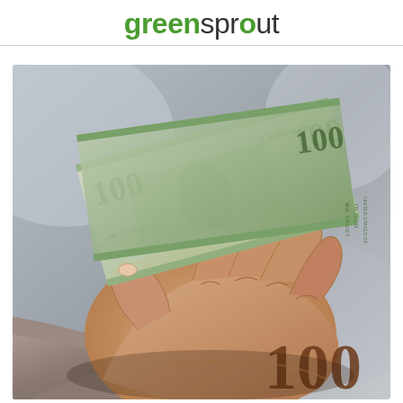greensprout
[Figure (photo): A hand gripping a folded stack of US $100 dollar bills, held out toward the viewer. The person is wearing a grey long-sleeve shirt. The image is in close-up with a blurred background.]